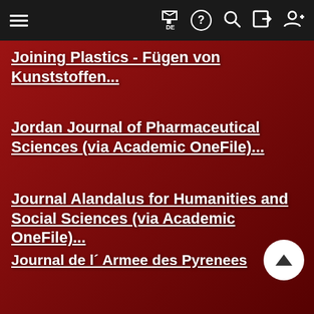Navigation bar with hamburger menu, flag/DE, help, search, login, register icons
Joining Plastics - Fügen von Kunststoffen...
Jordan Journal of Pharmaceutical Sciences (via Academic OneFile)...
Journal Alandalus for Humanities and Social Sciences (via Academic OneFile)...
Journal de l´ Armee des Pyrenees Orientales...
Journal de Pediatrie et de Puericulture...